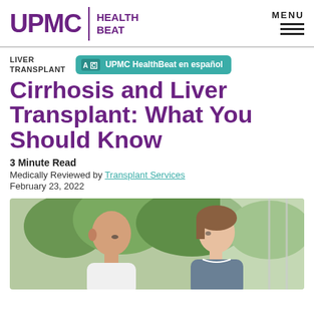UPMC | HEALTH BEAT
LIVER TRANSPLANT
UPMC HealthBeat en español
Cirrhosis and Liver Transplant: What You Should Know
3 Minute Read
Medically Reviewed by Transplant Services
February 23, 2022
[Figure (photo): A doctor and patient in conversation near a window with green trees visible outside]